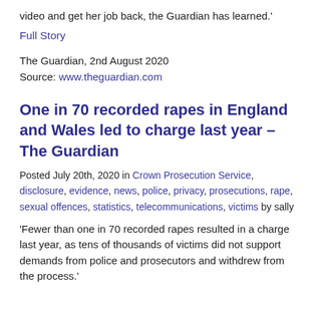video and get her job back, the Guardian has learned.'
Full Story
The Guardian, 2nd August 2020
Source: www.theguardian.com
One in 70 recorded rapes in England and Wales led to charge last year – The Guardian
Posted July 20th, 2020 in Crown Prosecution Service, disclosure, evidence, news, police, privacy, prosecutions, rape, sexual offences, statistics, telecommunications, victims by sally
'Fewer than one in 70 recorded rapes resulted in a charge last year, as tens of thousands of victims did not support demands from police and prosecutors and withdrew from the process.'